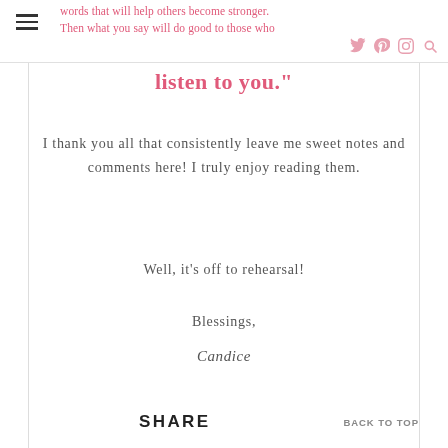words that will help others become stronger. Then what you say will do good to those who listen to you."
I thank you all that consistently leave me sweet notes and comments here! I truly enjoy reading them.
Well, it's off to rehearsal!
Blessings,
Candice
SHARE   BACK TO TOP